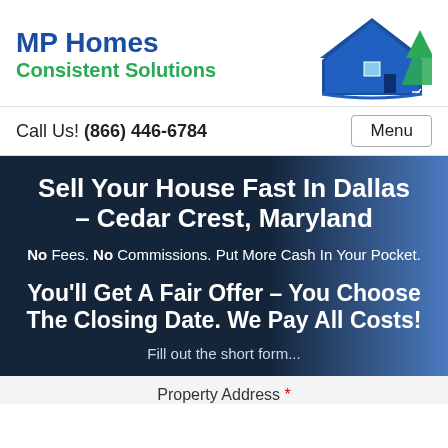[Figure (logo): MP Homes Consistent Solutions company logo with text and house icon illustration]
Call Us! (866) 446-6784
Menu
Sell Your House Fast In Dallas – Cedar Crest, Maryland
No Fees. No Commissions. Put More Cash In Your Pocket.
You'll Get A Fair Offer – You Choose The Closing Date. We Pay All Costs!
Fill out the short form...
Property Address *